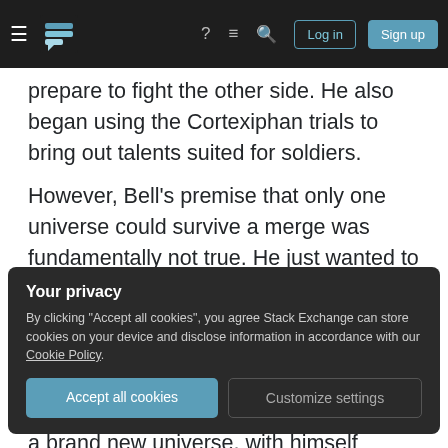Stack Exchange navigation bar with hamburger menu, logo, help, chat, search icons, Log in and Sign up buttons
prepare to fight the other side. He also began using the Cortexiphan trials to bring out talents suited for soldiers.
However, Bell's premise that only one universe could survive a merge was fundamentally not true. He just wanted to encourage both sides to start a war, because he wanted both universes to be destroyed. He wanted to use the energy of the two universes, and the power of the Cortexiphan kids, to help him create a brand new universe, with himself
Your privacy
By clicking "Accept all cookies", you agree Stack Exchange can store cookies on your device and disclose information in accordance with our Cookie Policy.
Accept all cookies
Customize settings